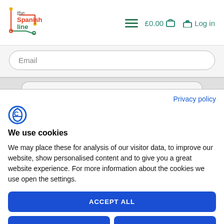[Figure (logo): The Spanish Line logo with colorful circuit-board style lines and text]
£0.00 🛒
🏠 Log in
Email
Privacy policy
We use cookies
We may place these for analysis of our visitor data, to improve our website, show personalised content and to give you a great website experience. For more information about the cookies we use open the settings.
ACCEPT ALL
DENY
NO, ADJUST